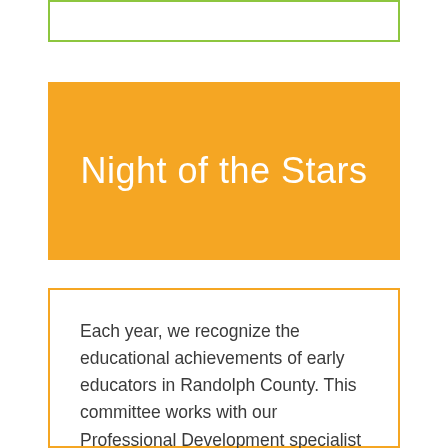[Figure (other): Top decorative box with green border]
Night of the Stars
Each year, we recognize the educational achievements of early educators in Randolph County. This committee works with our Professional Development specialist and the Professional Development Committee to plan and execute a banquet with a